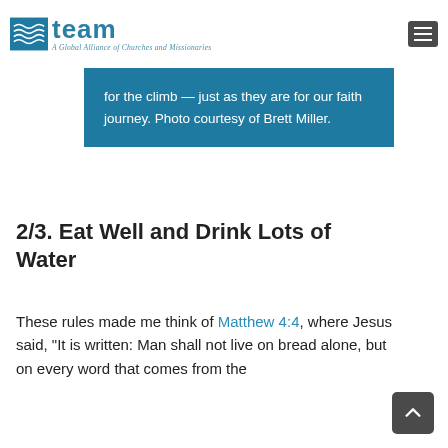TEAM — A Global Alliance of Churches and Missionaries
for the climb — just as they are for our faith journey. Photo courtesy of Brett Miller.
2/3. Eat Well and Drink Lots of Water
These rules made me think of Matthew 4:4, where Jesus said, “It is written: Man shall not live on bread alone, but on every word that comes from the